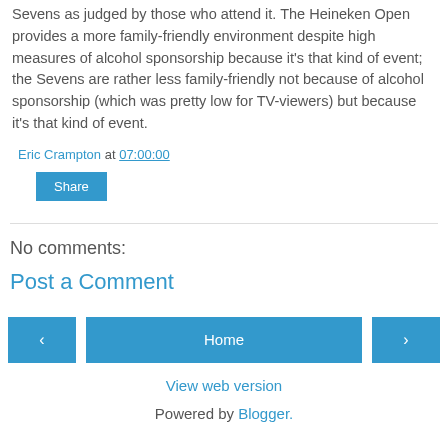Sevens as judged by those who attend it. The Heineken Open provides a more family-friendly environment despite high measures of alcohol sponsorship because it's that kind of event; the Sevens are rather less family-friendly not because of alcohol sponsorship (which was pretty low for TV-viewers) but because it's that kind of event.
Eric Crampton at 07:00:00
Share
No comments:
Post a Comment
‹ Home ›
View web version
Powered by Blogger.